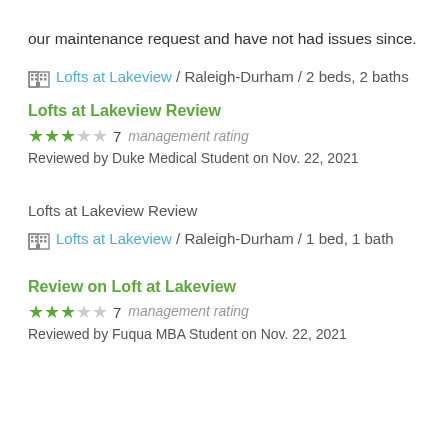our maintenance request and have not had issues since.
🏢 Lofts at Lakeview / Raleigh-Durham / 2 beds, 2 baths
Lofts at Lakeview Review
★★★☆☆ 7 management rating Reviewed by Duke Medical Student on Nov. 22, 2021
Lofts at Lakeview Review
🏢 Lofts at Lakeview / Raleigh-Durham / 1 bed, 1 bath
Review on Loft at Lakeview
★★★☆☆ 7 management rating Reviewed by Fuqua MBA Student on Nov. 22, 2021